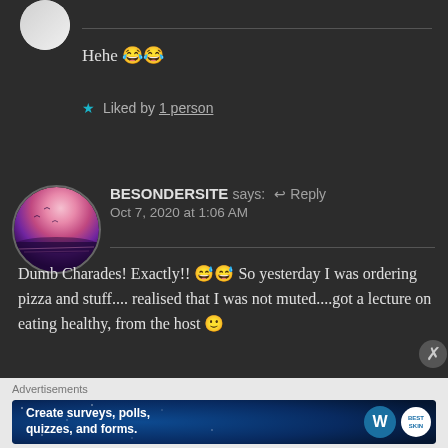Hehe 😂😂
★ Liked by 1 person
[Figure (photo): Circular avatar photo showing a pink/purple sunset sky over water]
BESONDERSITE says: ↩ Reply
Oct 7, 2020 at 1:06 AM
Dumb Charades! Exactly!! 😅😅 So yesterday I was ordering pizza and stuff.... realised that I was not muted....got a lecture on eating healthy, from the host 🙂
Advertisements
[Figure (screenshot): Advertisement banner: Create surveys, polls, quizzes, and forms. WordPress and survey logos.]